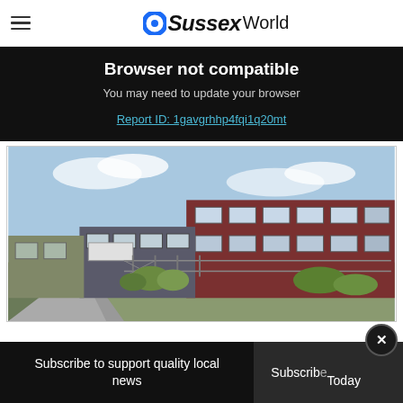OSussexWorld
Browser not compatible
You may need to update your browser
Report ID: 1gavgrhhp4fqi1q20mt
[Figure (photo): Street view photo of a school building — a two-storey brick structure with large windows, a fence/gate in the foreground, green vegetation, and a road leading up to it under a partly cloudy sky.]
Subscribe to support quality local news
Subscribe Today